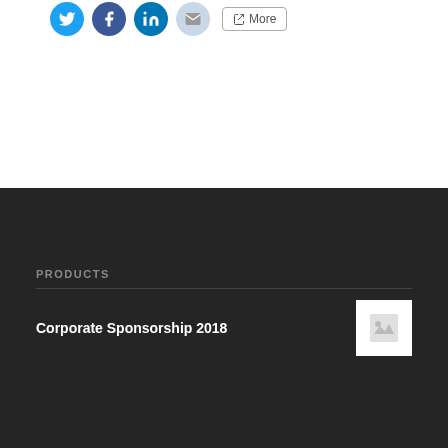[Figure (other): Social media share icons: Twitter (blue), Facebook (dark blue), LinkedIn (blue), Email (light blue), and a More button]
PRODUCTS
Corporate Sponsorship 2018